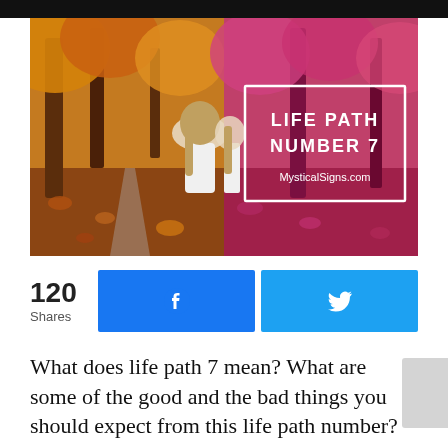[Figure (illustration): Split-tone image of a girl with long hair sitting on a forest path covered in autumn leaves. Left half shows natural warm orange/amber tones, right half shows a pink/magenta color overlay. A white rectangle border contains bold white text reading 'LIFE PATH NUMBER 7' and below it 'MysticalSigns.com'.]
120
Shares
[Figure (infographic): Facebook share button (blue, with Facebook icon)]
[Figure (infographic): Twitter share button (light blue, with Twitter bird icon)]
What does life path 7 mean? What are some of the good and the bad things you should expect from this life path number?